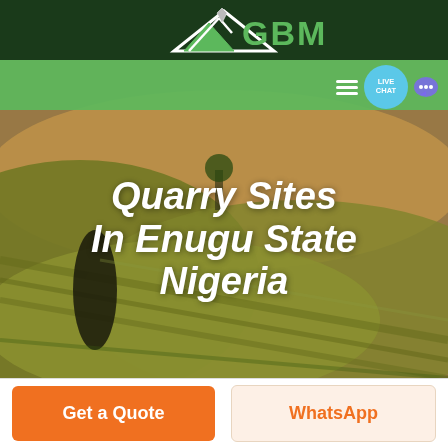[Figure (logo): GBM logo with white triangular arrow/mountain shape on dark green background with green GBM text]
[Figure (photo): Aerial photograph of agricultural fields with green rolling hills and warm golden-orange tones, showing a dark standing stone or tree silhouette on the left]
Quarry Sites In Enugu State Nigeria
Get a Quote
WhatsApp